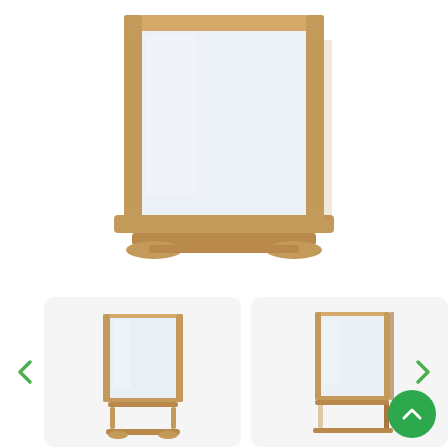[Figure (photo): A wooden-framed dressing table mirror shown from the front, slightly angled. The frame is light oak/pine wood with a rectangular shape and a base rail. The mirror glass is clear and reflective. White background.]
[Figure (photo): Thumbnail image of the same oak-framed dressing table mirror, showing the full mirror on its swivel stand, facing slightly to the right. Light grey background.]
[Figure (photo): Thumbnail image of the same oak-framed dressing table mirror viewed from a side/three-quarter angle, showing the stand structure. Light grey background.]